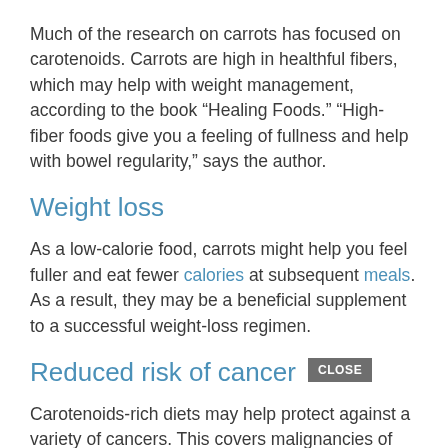Much of the research on carrots has focused on carotenoids. Carrots are high in healthful fibers, which may help with weight management, according to the book “Healing Foods.” “High-fiber foods give you a feeling of fullness and help with bowel regularity,” says the author.
Weight loss
As a low-calorie food, carrots might help you feel fuller and eat fewer calories at subsequent meals. As a result, they may be a beneficial supplement to a successful weight-loss regimen.
Reduced risk of cancer
Carotenoids-rich diets may help protect against a variety of cancers. This covers malignancies of